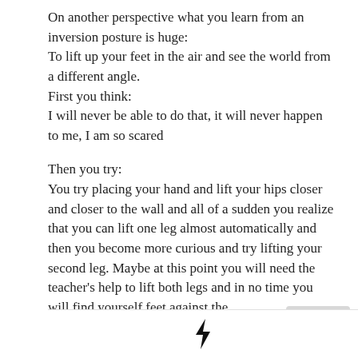On another perspective what you learn from an inversion posture is huge:
To lift up your feet in the air and see the world from a different angle.
First you think:
I will never be able to do that, it will never happen to me, I am so scared

Then you try:
You try placing your hand and lift your hips closer and closer to the wall and all of a sudden you realize that you can lift one leg almost automatically and then you become more curious and try lifting your second leg. Maybe at this point you will need the teacher's help to lift both legs and in no time you will find yourself feet against the
[Figure (illustration): Lightning bolt icon in a white/light grey footer bar at the bottom of the page]